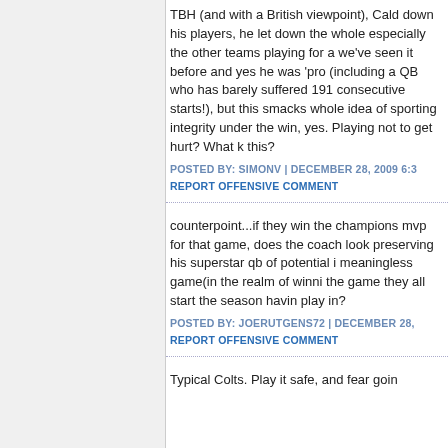TBH (and with a British viewpoint), Cald down his players, he let down the whole especially the other teams playing for a we've seen it before and yes he was 'pro (including a QB who has barely suffered 191 consecutive starts!), but this smacks whole idea of sporting integrity under the win, yes. Playing not to get hurt? What k this?
POSTED BY: SIMONV | DECEMBER 28, 2009 6:3
REPORT OFFENSIVE COMMENT
counterpoint...if they win the champions mvp for that game, does the coach look preserving his superstar qb of potential i meaningless game(in the realm of winni the game they all start the season havin play in?
POSTED BY: JOERUTGENS72 | DECEMBER 28,
REPORT OFFENSIVE COMMENT
Typical Colts. Play it safe, and fear goin